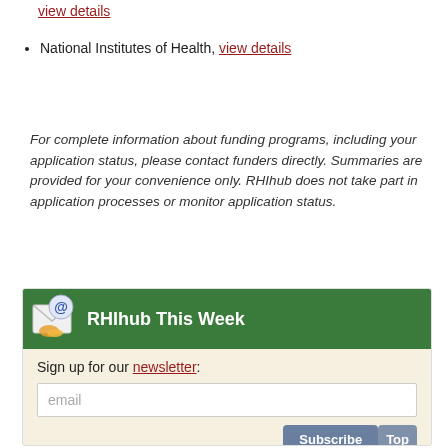view details
National Institutes of Health, view details
For complete information about funding programs, including your application status, please contact funders directly. Summaries are provided for your convenience only. RHIhub does not take part in application processes or monitor application status.
[Figure (infographic): RHIhub This Week newsletter signup box with green header, email input field, and Subscribe button]
Sign up for our newsletter: